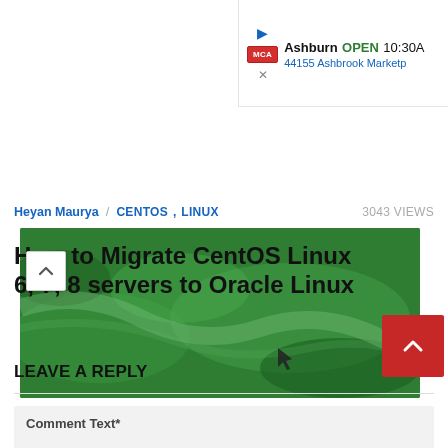[Figure (screenshot): Advertisement banner showing MCA logo with Ashburn location, OPEN status, 10:30A hours, and 44155 Ashbrook Marketp address]
[Figure (map): Aerial map view showing green terrain/landscape with a cursor arrow visible]
Heyan Maurya / CENTOS, LINUX   3043 VIEWS
How to Migrate CentOS Linux 6, 7, 8 servers to Oracle Linux
LEAVE A REPLY
Comment Text*